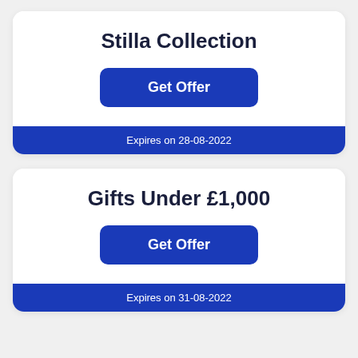Stilla Collection
Get Offer
Expires on 28-08-2022
Gifts Under £1,000
Get Offer
Expires on 31-08-2022